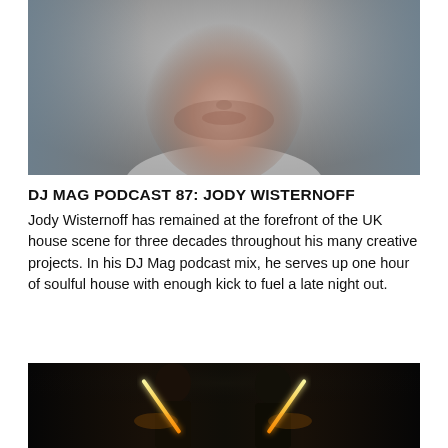[Figure (photo): Close-up portrait photo of a man's face, looking directly at camera, wearing a white shirt with a grey/teal background]
DJ MAG PODCAST 87: JODY WISTERNOFF
Jody Wisternoff has remained at the forefront of the UK house scene for three decades throughout his many creative projects. In his DJ Mag podcast mix, he serves up one hour of soulful house with enough kick to fuel a late night out.
[Figure (photo): Two people holding glowing orange light sabers/rods in a dark setting, standing in front of a concrete wall]